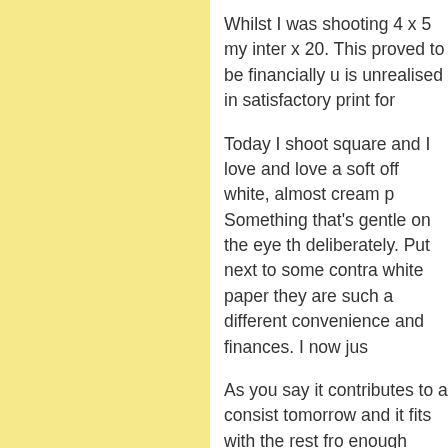Whilst I was shooting 4 x 5 my inter x 20. This proved to be financially u is unrealised in satisfactory print for
Today I shoot square and I love and love a soft off white, almost cream p Something that's gentle on the eye th deliberately. Put next to some contra white paper they are such a different convenience and finances. I now jus
As you say it contributes to a consist tomorrow and it fits with the rest fro enough artists think about this clearl
Posted by: Len Metcalf | Friday, 16 April 2021 at 02:1
I'm far less interested(as in hardly at lenses 'render' and other such airy-fa construction of a photograph and ho